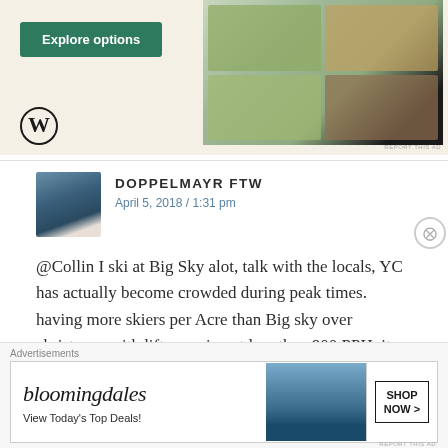[Figure (screenshot): WordPress/food website advertisement showing an Explore options green button, WordPress logo, and a screenshot of a food website on mobile with dishes]
[Figure (screenshot): Avatar image of mountain/ski scene for commenter Doppelmayr FTW]
DOPPELMAYR FTW
April 5, 2018 / 1:31 pm
@Collin I ski at Big Sky alot, talk with the locals, YC has actually become crowded during peak times. having more skiers per Acre than Big sky over christmas, with lifts running at less than 900 PPH. its important to note each member can bring up to 10 guests, making the maximum number of
[Figure (screenshot): Bloomingdales advertisement banner: 'View Today's Top Deals!' with SHOP NOW button and model wearing hat]